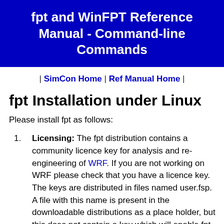fpt and WinFPT Reference Manual - Command-line Commands
| SimCon Home | Ref Manual Home |
fpt Installation under Linux
Please install fpt as follows:
Licensing: The fpt distribution contains a community licence key for analysis and re-engineering of WRF. If you are not working on WRF please check that you have a licence key. The keys are distributed in files named user.fsp. A file with this name is present in the downloadable distributions as a place holder, but this does not contain a key which will enable fpt or WinFPT to run. Keys may be requested through the download area of